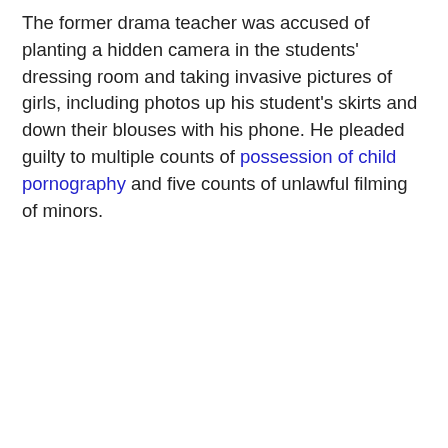The former drama teacher was accused of planting a hidden camera in the students' dressing room and taking invasive pictures of girls, including photos up his student's skirts and down their blouses with his phone. He pleaded guilty to multiple counts of possession of child pornography and five counts of unlawful filming of minors.